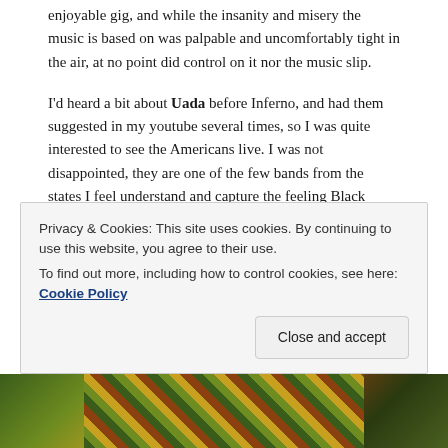enjoyable gig, and while the insanity and misery the music is based on was palpable and uncomfortably tight in the air, at no point did control on it nor the music slip.
I'd heard a bit about Uada before Inferno, and had them suggested in my youtube several times, so I was quite interested to see the Americans live. I was not disappointed, they are one of the few bands from the states I feel understand and capture the feeling Black Metal is all about. Layers of guitar create a menacing feeling overall, with a jagged coldness that feels more like desolate wilderness and jagged rock than the more traditional Scandinavian snowy landscapes. I hope I'll get to properly see them on tour sometime
Privacy & Cookies: This site uses cookies. By continuing to use this website, you agree to their use.
To find out more, including how to control cookies, see here: Cookie Policy
Close and accept
[Figure (photo): Partial view of a colorful image at the bottom of the page, showing green, yellow, orange and brown tones]